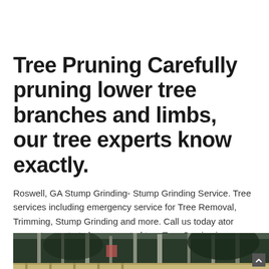Tree Pruning Carefully pruning lower tree branches and limbs, our tree experts know exactly.
Roswell, GA Stump Grinding- Stump Grinding Service. Tree services including emergency service for Tree Removal, Trimming, Stump Grinding and more. Call us today ator request a quote to be connected to a Tree Service in your area. Hire the Best Stump Removal and Grinding Services in Roswell, GA on HomeAdvisor.
[Figure (photo): Outdoor photo of tall trees with bare branches against a dark green forest background, with a wooden fence visible at the bottom.]